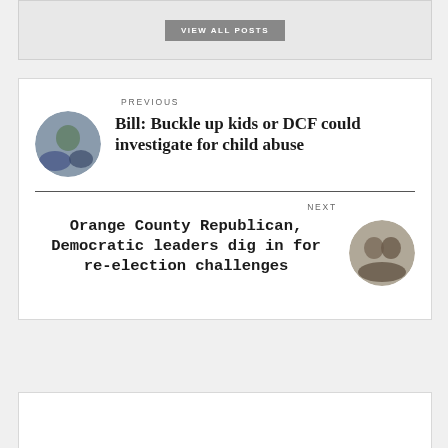[Figure (other): VIEW ALL POSTS button on gray background]
PREVIOUS
Bill: Buckle up kids or DCF could investigate for child abuse
NEXT
Orange County Republican, Democratic leaders dig in for re-election challenges
[Figure (other): Bottom white box partial]